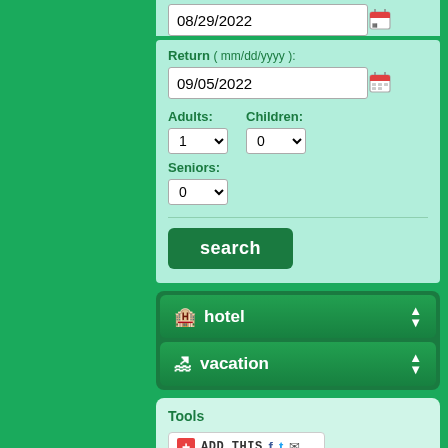[Figure (screenshot): Travel booking form sidebar showing partial date field (08/29/2022), Return date field (09/05/2022), Adults/Children/Seniors dropdowns, Search button, hotel and vacation menu items, and Tools/AddThis widget on green background]
Return ( mm/dd/yyyy ):
09/05/2022
Adults:
Children:
1
0
Seniors:
0
search
hotel
vacation
Tools
ADD THIS